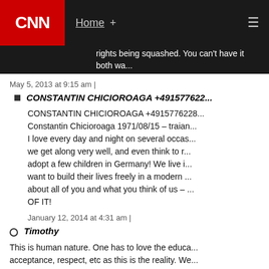CNN | Home +
rights being squashed. You can't have it both wa...
May 5, 2013 at 9:15 am |
CONSTANTIN CHICIOROAGA +49157762...
CONSTANTIN CHICIOROAGA +4915776228... Constantin Chicioroaga 1971/08/15 – traian... I love every day and night on several occas... we get along very well, and even think to r... adopt a few children in Germany! We live i... want to build their lives freely in a modern... about all of you and what you think of us – ... OF IT!
January 12, 2014 at 4:31 am |
Timothy
This is human nature. One has to love the educa... acceptance, respect, etc as this is the reality. We... intolerance, disrespect and rejection toward a di...